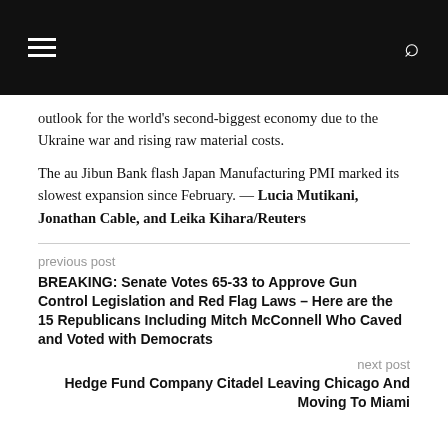outlook for the world's second-biggest economy due to the Ukraine war and rising raw material costs.
The au Jibun Bank flash Japan Manufacturing PMI marked its slowest expansion since February. — Lucia Mutikani, Jonathan Cable, and Leika Kihara/Reuters
previous post
BREAKING: Senate Votes 65-33 to Approve Gun Control Legislation and Red Flag Laws – Here are the 15 Republicans Including Mitch McConnell Who Caved and Voted with Democrats
next post
Hedge Fund Company Citadel Leaving Chicago And Moving To Miami